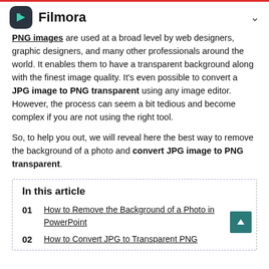Filmora
PNG images are used at a broad level by web designers, graphic designers, and many other professionals around the world. It enables them to have a transparent background along with the finest image quality. It's even possible to convert a JPG image to PNG transparent using any image editor. However, the process can seem a bit tedious and become complex if you are not using the right tool.
So, to help you out, we will reveal here the best way to remove the background of a photo and convert JPG image to PNG transparent.
In this article
01 How to Remove the Background of a Photo in PowerPoint
02 How to Convert JPG to Transparent PNG